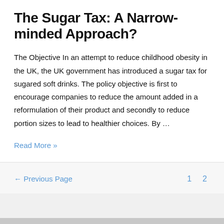The Sugar Tax: A Narrow-minded Approach?
The Objective In an attempt to reduce childhood obesity in the UK, the UK government has introduced a sugar tax for sugared soft drinks. The policy objective is first to encourage companies to reduce the amount added in a reformulation of their product and secondly to reduce portion sizes to lead to healthier choices. By ...
Read More »
← Previous Page   1   2